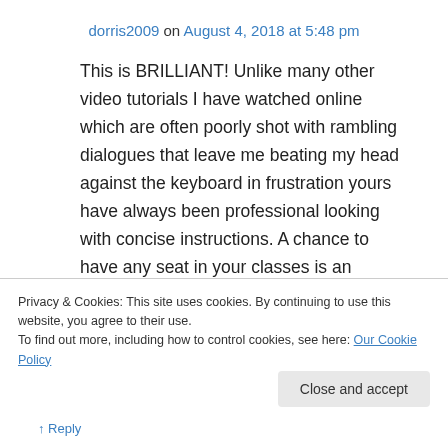dorris2009 on August 4, 2018 at 5:48 pm
This is BRILLIANT! Unlike many other video tutorials I have watched online which are often poorly shot with rambling dialogues that leave me beating my head against the keyboard in frustration yours have always been professional looking with concise instructions. A chance to have any seat in your classes is an impossible dream (I am on a retired budget which has no room for travel). Now I can actually have a front
Privacy & Cookies: This site uses cookies. By continuing to use this website, you agree to their use.
To find out more, including how to control cookies, see here: Our Cookie Policy
Close and accept
↑ Reply